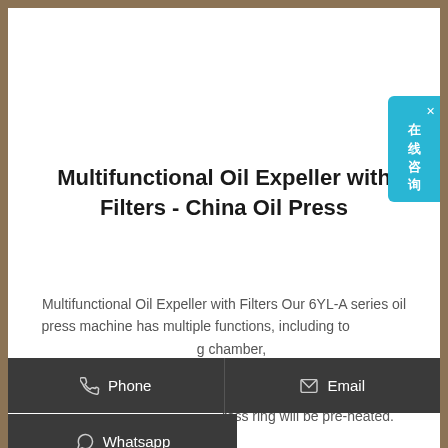Multifunctional Oil Expeller with Filters - China Oil Press
Multifunctional Oil Expeller with Filters Our 6YL-A series oil press machine has multiple functions, including to [pressing chamber,] [heating some] [such as the press chamber, press] [ress ring will be pre-heated.
[Figure (other): Dark overlay contact buttons: Phone, Email, and Whatsapp buttons overlaid on the page content]
[Figure (other): Chinese online chat widget in cyan/blue on right edge reading 在线咨询 (online consultation) with X close button]